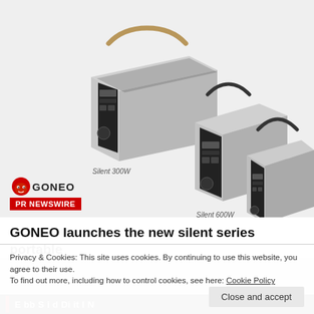[Figure (photo): Three GONEO portable power stations shown in ascending size: Silent 300W (left, with tan leather handle), Silent 600W (center, medium size, black handle), and Silent 1000W (right, largest, black handle). All units are gray/black with display panels on the front. Labels beneath each unit identify the model name.]
[Figure (logo): GONEO logo: red mushroom/devil mascot with the text GONEO, above a red 'PR NEWSWIRE' badge]
GONEO launches the new silent series portable
Privacy & Cookies: This site uses cookies. By continuing to use this website, you agree to their use.
To find out more, including how to control cookies, see here: Cookie Policy
Close and accept